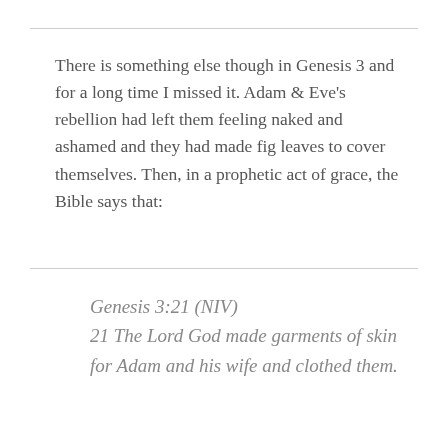There is something else though in Genesis 3 and for a long time I missed it. Adam & Eve's rebellion had left them feeling naked and ashamed and they had made fig leaves to cover themselves. Then, in a prophetic act of grace, the Bible says that:
Genesis 3:21 (NIV)
21 The Lord God made garments of skin for Adam and his wife and clothed them.